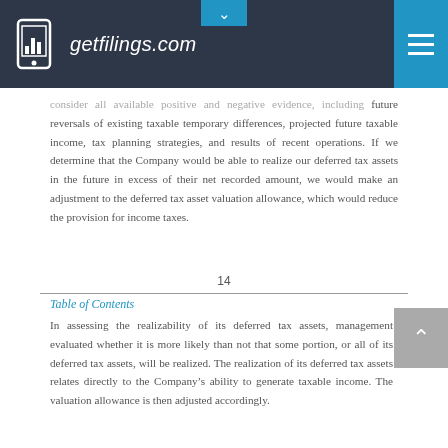getfilings.com
consider all available positive and negative evidence, including future reversals of existing taxable temporary differences, projected future taxable income, tax planning strategies, and results of recent operations. If we determine that the Company would be able to realize our deferred tax assets in the future in excess of their net recorded amount, we would make an adjustment to the deferred tax asset valuation allowance, which would reduce the provision for income taxes.
14
Table of Contents
In assessing the realizability of its deferred tax assets, management evaluated whether it is more likely than not that some portion, or all of its deferred tax assets, will be realized. The realization of its deferred tax assets relates directly to the Company's ability to generate taxable income. The valuation allowance is then adjusted accordingly.